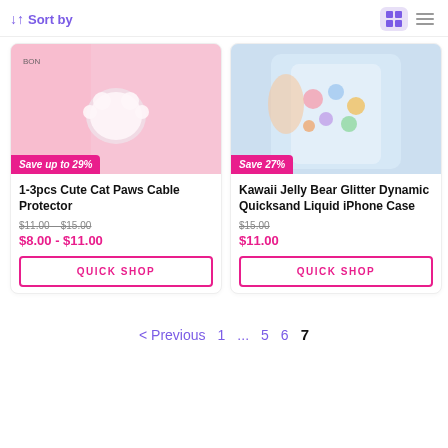↓↑ Sort by
[Figure (screenshot): Product card: 1-3pcs Cute Cat Paws Cable Protector with pink background and cat paw image, Save up to 29% badge, original price $11.00-$15.00, sale price $8.00-$11.00, Quick Shop button]
[Figure (screenshot): Product card: Kawaii Jelly Bear Glitter Dynamic Quicksand Liquid iPhone Case with blue/colorful phone case image, Save 27% badge, original price $15.00, sale price $11.00, Quick Shop button]
< Previous   1   ...   5   6   7